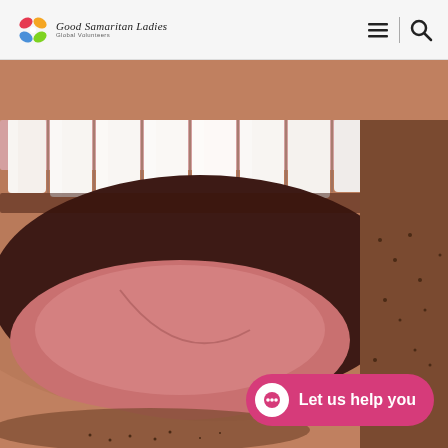[Figure (logo): Colorful logo with script text and subtitle, resembling a dental/health brand]
[Figure (photo): Close-up macro photo of a man's open mouth showing white upper teeth, tongue, and stubble beard on dark skin]
Let us help you